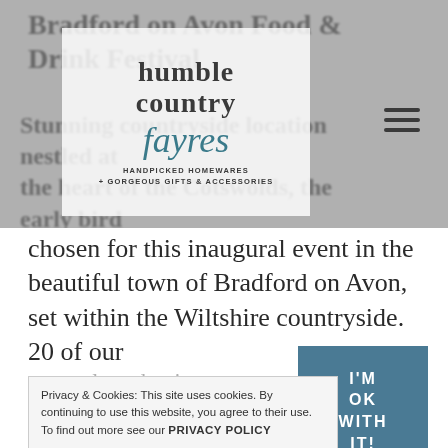[Figure (logo): Humble Country Fayres logo with tagline 'Handpicked Homewares + Gorgeous Gifts & Accessories' on grey banner background with background text overlay]
chosen for this inaugural event in the beautiful town of Bradford on Avon, set within the Wiltshire countryside. 20 of our
Privacy & Cookies: This site uses cookies. By continuing to use this website, you agree to their use. To find out more see our PRIVACY POLICY
[Figure (other): Blue square box with white bold text reading I'M OK WITH IT!]